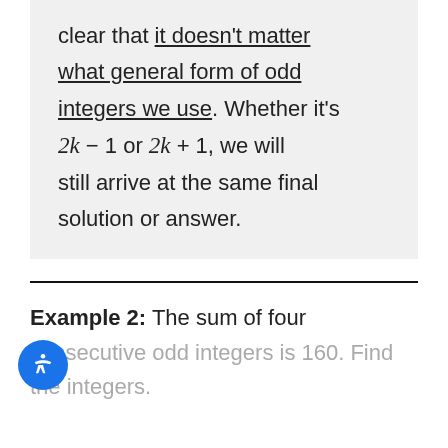clear that it doesn't matter what general form of odd integers we use. Whether it's 2k − 1 or 2k + 1, we will still arrive at the same final solution or answer.
Example 2: The sum of four consecutive odd integers is 160. Find the integers.